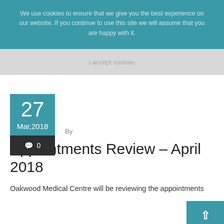We use cookies to ensure that we give you the best experience on our website. If you continue to use this site we will assume that you are happy with it.
I accept cookies
[Figure (other): Date badge showing 27 Mar,2018 with teal background and comment count 0 on dark background]
By
Appointments Review – April 2018
Oakwood Medical Centre will be reviewing the appointments